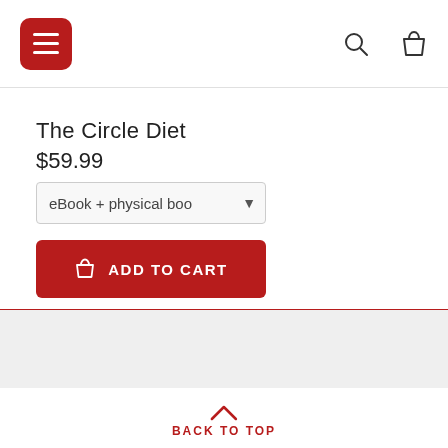[Figure (screenshot): Navigation header with red rounded square menu button (three horizontal lines), a search icon (magnifying glass), and a shopping bag icon]
The Circle Diet
$59.99
eBook + physical boo
ADD TO CART
NO MORE PRODUCTS
BACK TO TOP